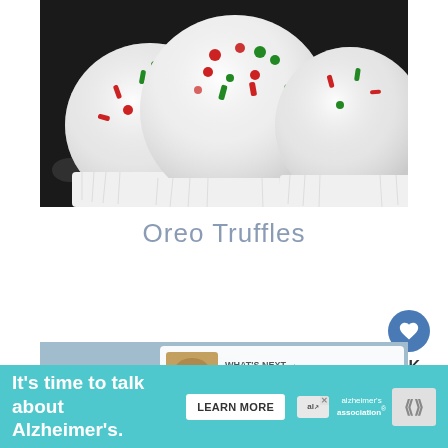[Figure (photo): Three white chocolate truffles with red and green holiday sprinkles in white paper cupcake liners, on dark background]
Oreo Truffles
[Figure (photo): What's Next overlay showing Bailey's Irish Cream Rice... with thumbnail, on a blurred food photo background]
[Figure (infographic): Advertisement banner: It's time to talk about Alzheimer's. with Learn More button and Alzheimer's Association logo]